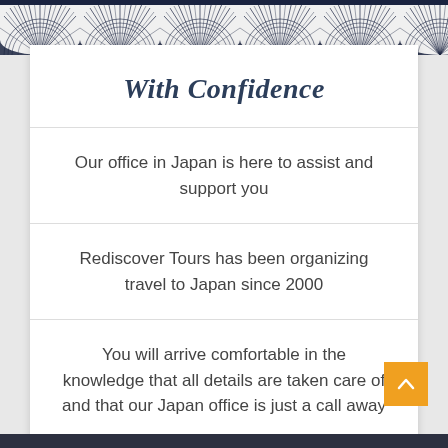[Figure (illustration): Decorative Japanese fan/peacock feather pattern in dark navy blue and white at the top of the page]
With Confidence
Our office in Japan is here to assist and support you
Rediscover Tours has been organizing travel to Japan since 2000
You will arrive comfortable in the knowledge that all details are taken care of and that our Japan office is just a call away